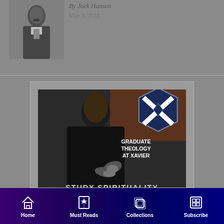[Figure (photo): Black and white portrait photograph of a man in formal attire with a mustache]
By Jack Hanson
May 3, 2021
[Figure (photo): Advertisement for Graduate Theology at Xavier University showing a woman in black dress with Xavier X logo and text 'GRADUATE THEOLOGY AT XAVIER' and 'STUDY SPIRITUALITY']
Home | Must Reads | Collections | Subscribe